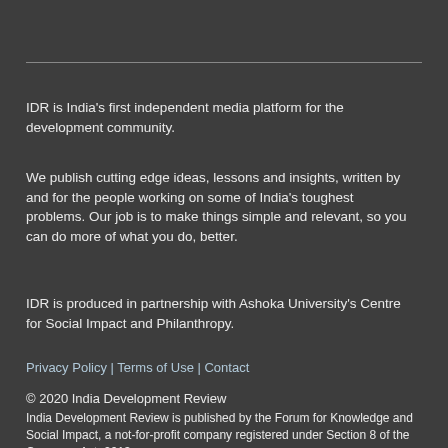IDR is India's first independent media platform for the development community.
We publish cutting edge ideas, lessons and insights, written by and for the people working on some of India's toughest problems. Our job is to make things simple and relevant, so you can do more of what you do, better.
IDR is produced in partnership with Ashoka University's Centre for Social Impact and Philanthropy.
Privacy Policy | Terms of Use | Contact
© 2020 India Development Review
India Development Review is published by the Forum for Knowledge and Social Impact, a not-for-profit company registered under Section 8 of the Company Act, 2013.
CIN: U93090MH2017NPL296634